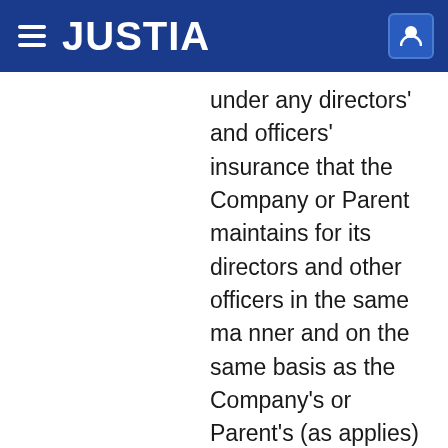JUSTIA
under any directors' and officers' insurance that the Company or Parent maintains for its directors and other officers in the same manner and on the same basis as the Company's or Parent's (as applies) directors and other officers